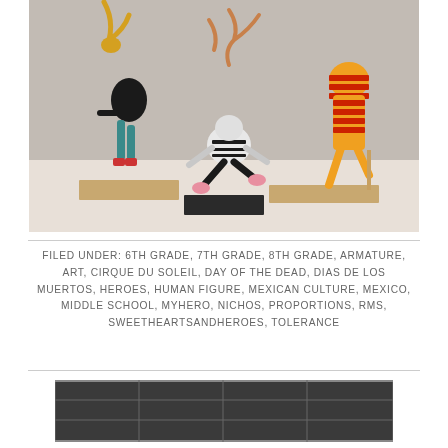[Figure (photo): Photograph of student-made papier-mâché human figure sculptures in dynamic poses, displayed on wooden and black bases. Figures are decorated with colorful patterns including black-and-white stripes, orange-red stripes, and teal/yellow accents, reminiscent of Cirque du Soleil or Day of the Dead themes.]
FILED UNDER: 6TH GRADE, 7TH GRADE, 8TH GRADE, ARMATURE, ART, CIRQUE DU SOLEIL, DAY OF THE DEAD, DIAS DE LOS MUERTOS, HEROES, HUMAN FIGURE, MEXICAN CULTURE, MEXICO, MIDDLE SCHOOL, MYHERO, NICHOS, PROPORTIONS, RMS, SWEETHEARTSANDHEROES, TOLERANCE
[Figure (photo): Partial view of another photograph at the bottom of the page, appears to show more student artwork or a display.]